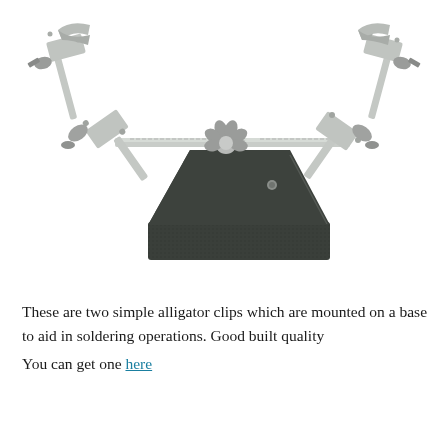[Figure (photo): A helping hand soldering tool with two alligator clips mounted on adjustable arms, connected to a heavy cast iron base. The arms are chrome/nickel plated metal rods with wing-nut adjusters. The base is dark grey/black textured cast iron.]
These are two simple alligator clips which are mounted on a base to aid in soldering operations. Good built quality
You can get one here